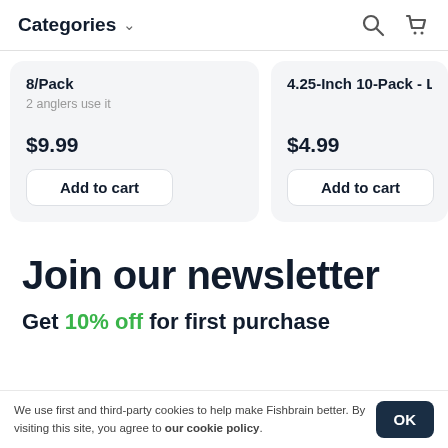Categories
8/Pack
2 anglers use it
$9.99
Add to cart
4.25-Inch 10-Pack - Lou
$4.99
Add to cart
Join our newsletter
Get 10% off for first purchase
We use first and third-party cookies to help make Fishbrain better. By visiting this site, you agree to our cookie policy.